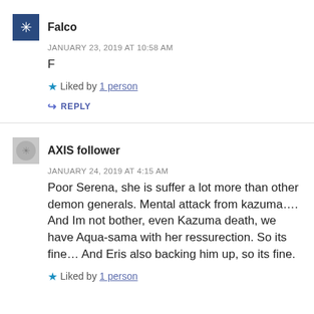Falco
JANUARY 23, 2019 AT 10:58 AM
F
Liked by 1 person
REPLY
AXIS follower
JANUARY 24, 2019 AT 4:15 AM
Poor Serena, she is suffer a lot more than other demon generals. Mental attack from kazuma.... And Im not bother, even Kazuma death, we have Aqua-sama with her ressurection. So its fine... And Eris also backing him up, so its fine.
Liked by 1 person